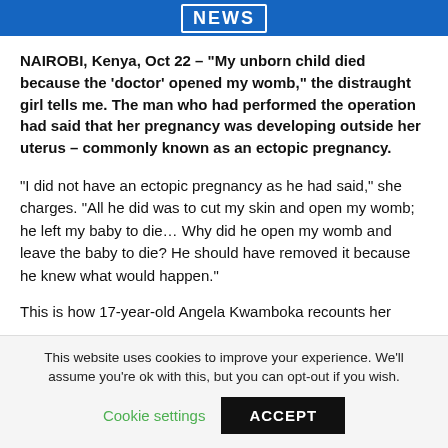NEWS
NAIROBI, Kenya, Oct 22 – “My unborn child died because the ‘doctor’ opened my womb,” the distraught girl tells me. The man who had performed the operation had said that her pregnancy was developing outside her uterus – commonly known as an ectopic pregnancy.
“I did not have an ectopic pregnancy as he had said,” she charges. “All he did was to cut my skin and open my womb; he left my baby to die… Why did he open my womb and leave the baby to die? He should have removed it because he knew what would happen.”
This is how 17-year-old Angela Kwamboka recounts her
This website uses cookies to improve your experience. We’ll assume you’re ok with this, but you can opt-out if you wish.
Cookie settings  ACCEPT